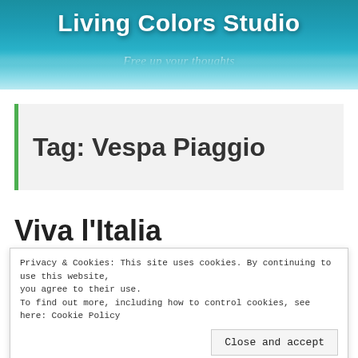Living Colors Studio — Free up your thoughts
Tag: Vespa Piaggio
Viva l'Italia
Privacy & Cookies: This site uses cookies. By continuing to use this website, you agree to their use.
To find out more, including how to control cookies, see here: Cookie Policy
Close and accept
[Figure (photo): Bottom strip showing colorful vehicles (red and green cars), partial view]